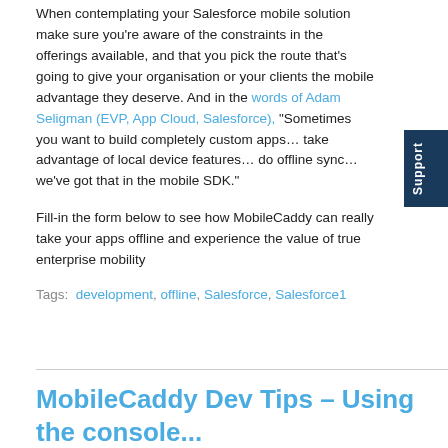When contemplating your Salesforce mobile solution make sure you're aware of the constraints in the offerings available, and that you pick the route that's going to give your organisation or your clients the mobile advantage they deserve. And in the words of Adam Seligman (EVP, App Cloud, Salesforce), "Sometimes you want to build completely custom apps… take advantage of local device features… do offline sync… we've got that in the mobile SDK."
Fill-in the form below to see how MobileCaddy can really take your apps offline and experience the value of true enterprise mobility
Tags: development, offline, Salesforce, Salesforce1
MobileCaddy Dev Tips – Using the console...